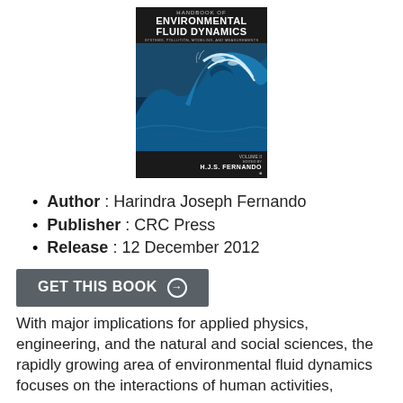[Figure (photo): Book cover of Handbook of Environmental Fluid Dynamics, Volume II, edited by H.J.S. Fernando, published by CRC Press, featuring an ocean wave image.]
Author : Harindra Joseph Fernando
Publisher : CRC Press
Release : 12 December 2012
GET THIS BOOK →
With major implications for applied physics, engineering, and the natural and social sciences, the rapidly growing area of environmental fluid dynamics focuses on the interactions of human activities,